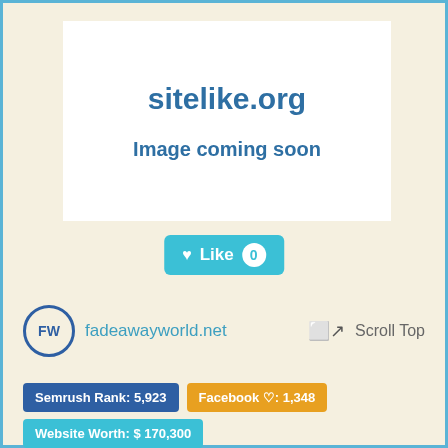[Figure (screenshot): sitelike.org placeholder image box with text 'sitelike.org' and 'Image coming soon']
[Figure (other): Like button with heart icon showing count 0]
fadeawayworld.net  Scroll Top
Semrush Rank: 5,923
Facebook ♡: 1,348
Website Worth: $ 170,300